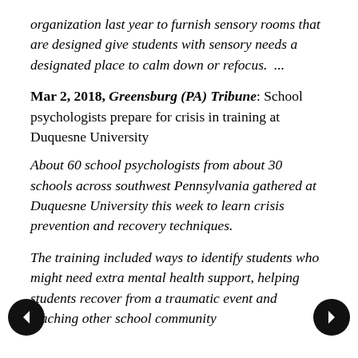organization last year to furnish sensory rooms that are designed give students with sensory needs a designated place to calm down or refocus.  ...
Mar 2, 2018, Greensburg (PA) Tribune: School psychologists prepare for crisis in training at Duquesne University
About 60 school psychologists from about 30 schools across southwest Pennsylvania gathered at Duquesne University this week to learn crisis prevention and recovery techniques.
The training included ways to identify students who might need extra mental health support, helping students recover from a traumatic event and teaching other school community